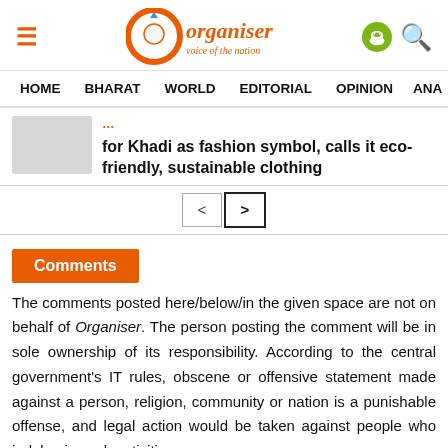Organiser - Voice of the Nation
HOME  BHARAT  WORLD  EDITORIAL  OPINION  ANA
for Khadi as fashion symbol, calls it eco-friendly, sustainable clothing
Comments
The comments posted here/below/in the given space are not on behalf of Organiser. The person posting the comment will be in sole ownership of its responsibility. According to the central government's IT rules, obscene or offensive statement made against a person, religion, community or nation is a punishable offense, and legal action would be taken against people who indulge in such activities.